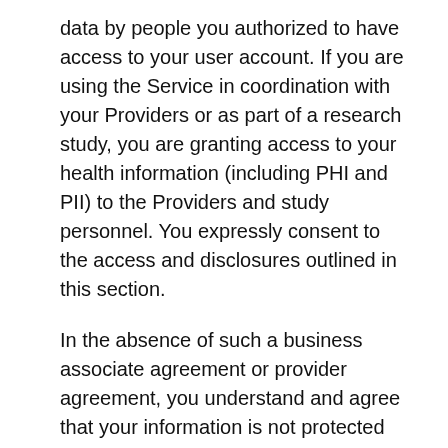data by people you authorized to have access to your user account. If you are using the Service in coordination with your Providers or as part of a research study, you are granting access to your health information (including PHI and PII) to the Providers and study personnel. You expressly consent to the access and disclosures outlined in this section.
In the absence of such a business associate agreement or provider agreement, you understand and agree that your information is not protected under HIPAA. However, we will take reasonable security measures to protect against unauthorized access to or unauthorized alteration, disclosure, or destruction of your information. However, we cannot guarantee your information will be absolutely secure or that unauthorized persons will not access or use your personal information for improper purposes. In the event of a breach of security affecting the personal